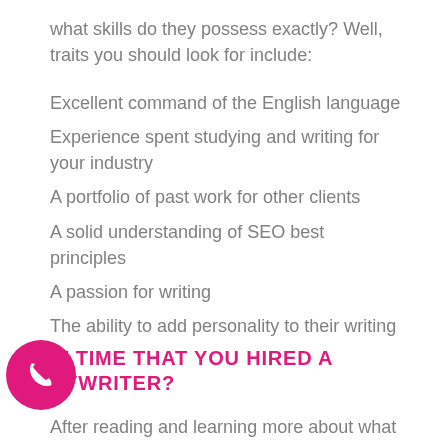what skills do they possess exactly? Well, traits you should look for include:
Excellent command of the English language
Experience spent studying and writing for your industry
A portfolio of past work for other clients
A solid understanding of SEO best principles
A passion for writing
The ability to add personality to their writing
IT TIME THAT YOU HIRED A PYWRITER?
After reading and learning more about what